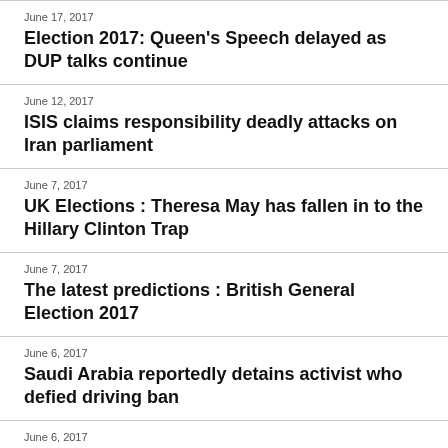June 17, 2017
Election 2017: Queen's Speech delayed as DUP talks continue
June 12, 2017
ISIS claims responsibility deadly attacks on Iran parliament
June 7, 2017
UK Elections : Theresa May has fallen in to the Hillary Clinton Trap
June 7, 2017
The latest predictions : British General Election 2017
June 6, 2017
Saudi Arabia reportedly detains activist who defied driving ban
June 6, 2017